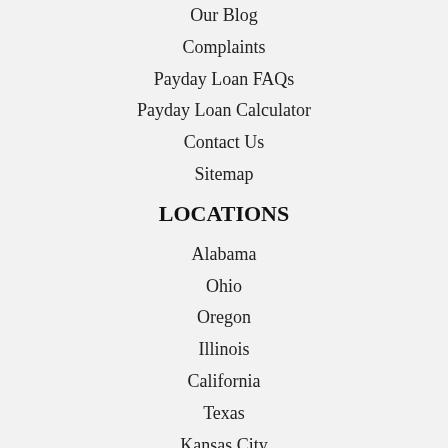Our Blog
Complaints
Payday Loan FAQs
Payday Loan Calculator
Contact Us
Sitemap
LOCATIONS
Alabama
Ohio
Oregon
Illinois
California
Texas
Kansas City